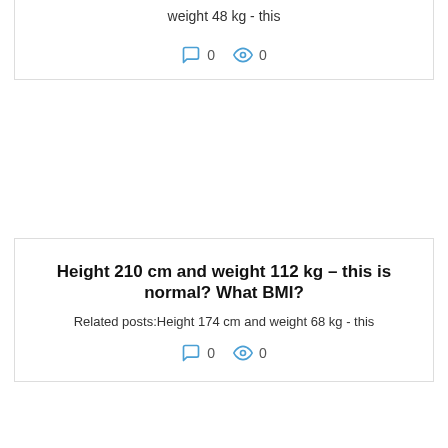weight 48 kg - this
0   0
Height 210 cm and weight 112 kg – this is normal? What BMI?
Related posts:Height 174 cm and weight 68 kg - this
0   0